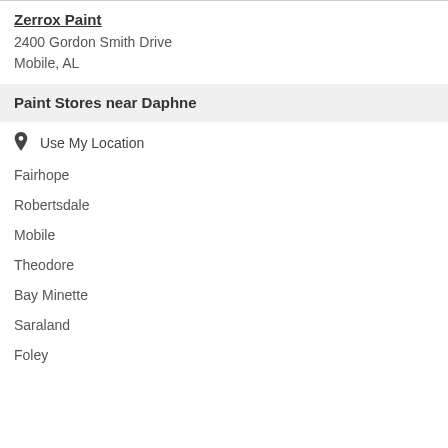Zerrox Paint
2400 Gordon Smith Drive
Mobile, AL
Paint Stores near Daphne
Use My Location
Fairhope
Robertsdale
Mobile
Theodore
Bay Minette
Saraland
Foley